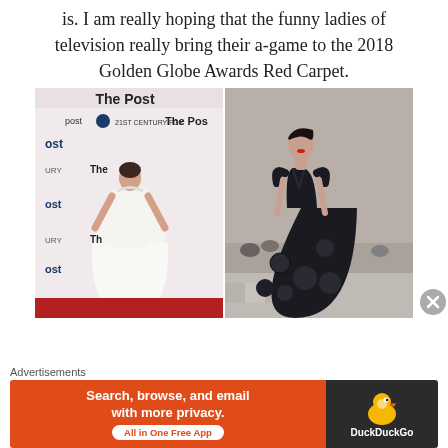is. I am really hoping that the funny ladies of television really bring their a-game to the 2018 Golden Globe Awards Red Carpet.
[Figure (photo): Two side-by-side fashion photos. Left: a woman in a white halter-neck gown standing on a red carpet in front of 'The Post' movie backdrop with 21st Century Fox logos. Right: a model in an elaborate black floral ball gown at what appears to be a fashion show runway.]
Advertisements
[Figure (screenshot): DuckDuckGo advertisement banner. Orange left panel with text 'Search, browse, and email with more privacy. All in One Free App'. Dark right panel with DuckDuckGo duck logo and brand name.]